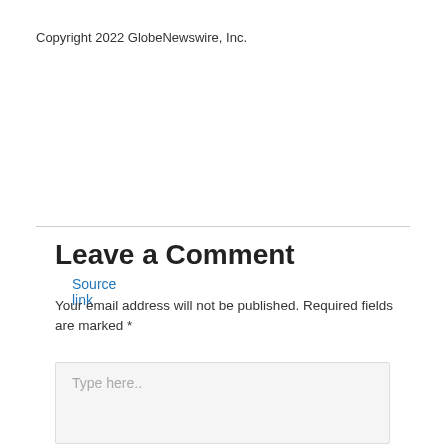Copyright 2022 GlobeNewswire, Inc.
Source link
Leave a Comment
Your email address will not be published. Required fields are marked *
Type here..